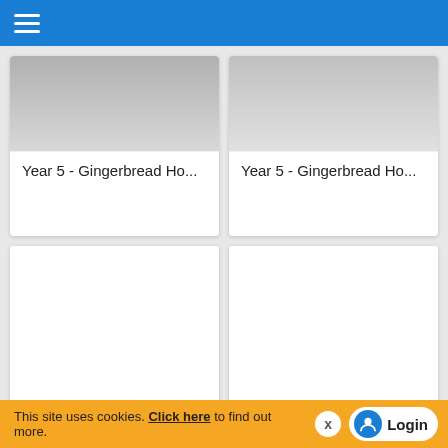Navigation bar with hamburger menu
[Figure (screenshot): Card grid showing educational content thumbnails titled 'Year 5 - Gingerbread Ho...' in a 2-column layout. Two rows with image thumbnails, one row with blank cards. Each card has a title below the image.]
Year 5 - Gingerbread Ho...
Year 5 - Gingerbread Ho...
Year 5 - Gingerbread Ho...
Year 5 - Gingerbread Ho...
This site uses cookies. Click here to find out more. X Login